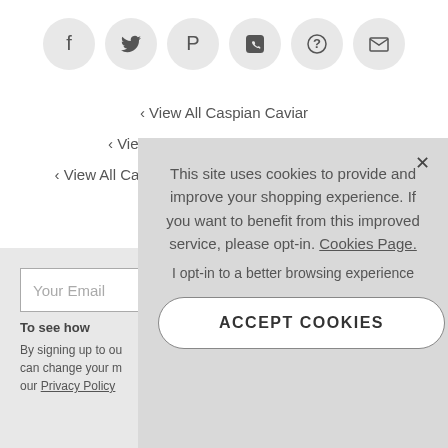[Figure (other): Row of six social media / sharing icon buttons in gray circles: Facebook (f), Twitter (bird), Pinterest (P), WhatsApp (phone), Help (?), Email (envelope)]
‹ View All Caspian Caviar
‹ View All Accessories & Tableware
‹ View All Caspian Caviar Accessories & Tableware
Your Email
To see how
By signing up to ou can change your m our Privacy Policy
This site uses cookies to provide and improve your shopping experience. If you want to benefit from this improved service, please opt-in. Cookies Page.
I opt-in to a better browsing experience
ACCEPT COOKIES